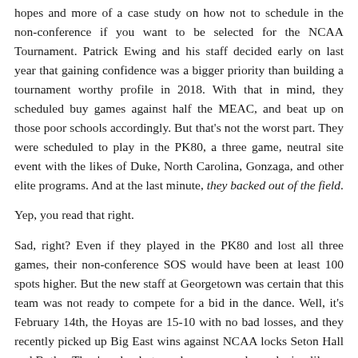hopes and more of a case study on how not to schedule in the non-conference if you want to be selected for the NCAA Tournament. Patrick Ewing and his staff decided early on last year that gaining confidence was a bigger priority than building a tournament worthy profile in 2018. With that in mind, they scheduled buy games against half the MEAC, and beat up on those poor schools accordingly. But that's not the worst part. They were scheduled to play in the PK80, a three game, neutral site event with the likes of Duke, North Carolina, Gonzaga, and other elite programs. And at the last minute, they backed out of the field.
Yep, you read that right.
Sad, right? Even if they played in the PK80 and lost all three games, their non-conference SOS would have been at least 100 spots higher. But the new staff at Georgetown was certain that this team was not ready to compete for a bid in the dance. Well, it's February 14th, the Hoyas are 15-10 with no bad losses, and they recently picked up Big East wins against NCAA locks Seton Hall and Butler. They've clearly turned a corner and are playing like an NCAA squad. What's worse is that they close the season with three home games against Xavier,